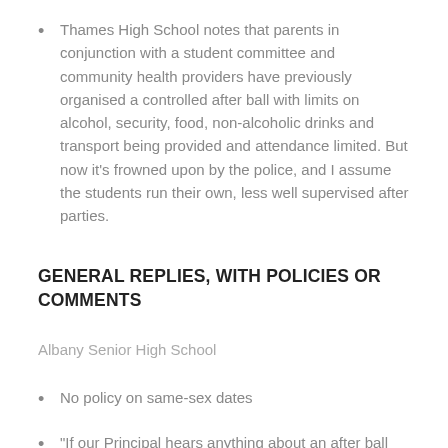Thames High School notes that parents in conjunction with a student committee and community health providers have previously organised a controlled after ball with limits on alcohol, security, food, non-alcoholic drinks and transport being provided and attendance limited. But now it's frowned upon by the police, and I assume the students run their own, less well supervised after parties.
GENERAL REPLIES, WITH POLICIES OR COMMENTS
Albany Senior High School
No policy on same-sex dates
“If our Principal hears anything about an after ball